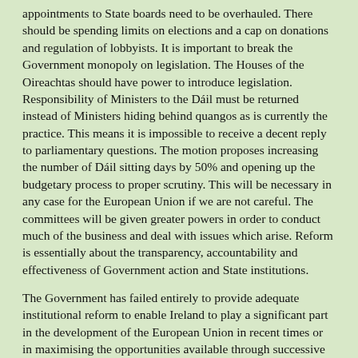appointments to State boards need to be overhauled. There should be spending limits on elections and a cap on donations and regulation of lobbyists. It is important to break the Government monopoly on legislation. The Houses of the Oireachtas should have power to introduce legislation. Responsibility of Ministers to the Dáil must be returned instead of Ministers hiding behind quangos as is currently the practice. This means it is impossible to receive a decent reply to parliamentary questions. The motion proposes increasing the number of Dáil sitting days by 50% and opening up the budgetary process to proper scrutiny. This will be necessary in any case for the European Union if we are not careful. The committees will be given greater powers in order to conduct much of the business and deal with issues which arise. Reform is essentially about the transparency, accountability and effectiveness of Government action and State institutions.
The Government has failed entirely to provide adequate institutional reform to enable Ireland to play a significant part in the development of the European Union in recent times or in maximising the opportunities available through successive treaty changes over the past 13 years of this Government in one form or another. The Taoiseach committed us to treaty change without reference to this House. He returned from a Council meeting and informed the House of the decision. This is not acceptable. It is a case of Government showing disrespect to the House. We have an entitlement but no input into the Commission's annual draft plans and it is felt that the EU Programme Council. Getting the European